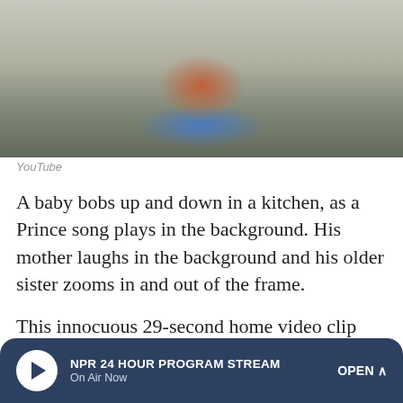[Figure (photo): A baby in a red outfit holding a blue toy walker/ring in a kitchen setting]
YouTube
A baby bobs up and down in a kitchen, as a Prince song plays in the background. His mother laughs in the background and his older sister zooms in and out of the frame.
This innocuous 29-second home video clip was posted to YouTube in 2007 and sparked a long legal proceeding on copyright and fair use law.
NPR 24 HOUR PROGRAM STREAM On Air Now OPEN ^